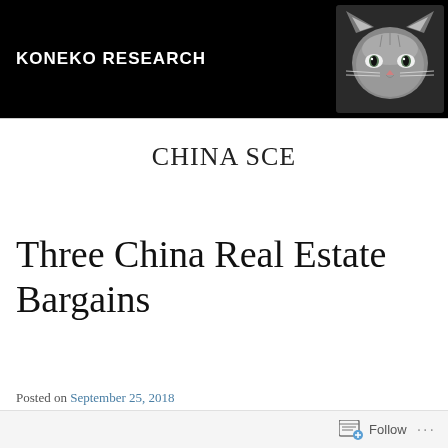KONEKO RESEARCH
[Figure (photo): Black and white photo of a kitten in top-right of header banner]
CHINA SCE
Three China Real Estate Bargains
Posted on September 25, 2018
Follow ...